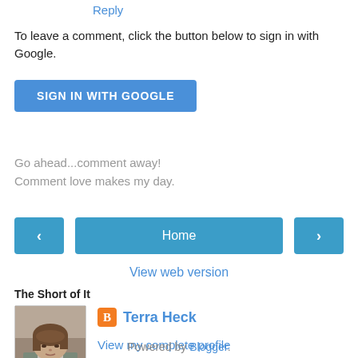Reply
To leave a comment, click the button below to sign in with Google.
[Figure (other): SIGN IN WITH GOOGLE blue button]
Go ahead...comment away!
Comment love makes my day.
[Figure (other): Navigation bar with left arrow, Home button, right arrow]
View web version
The Short of It
[Figure (photo): Profile photo of Terra Heck - woman with brown hair]
Terra Heck
View my complete profile
Powered by Blogger.